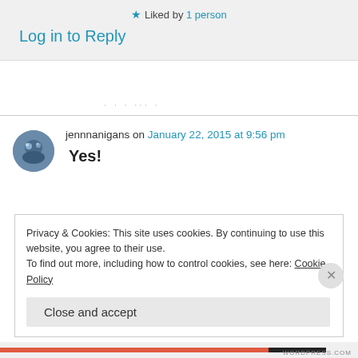★ Liked by 1 person
Log in to Reply
jennnanigans on January 22, 2015 at 9:56 pm
Yes!
Privacy & Cookies: This site uses cookies. By continuing to use this website, you agree to their use. To find out more, including how to control cookies, see here: Cookie Policy
Close and accept